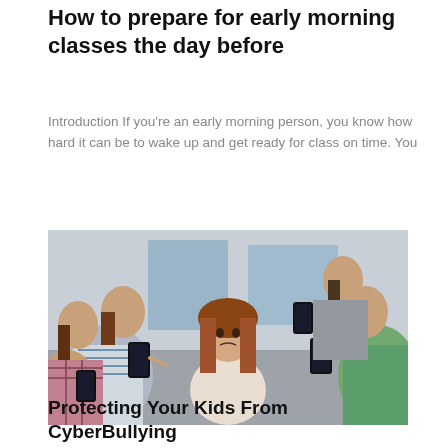How to prepare for early morning classes the day before
Introduction If you’re an early morning person, you know how hard it can be to wake up and get ready for class on time. You
[Figure (photo): A sad teenage girl sitting with arms crossed while several peers surround her pointing smartphones at her, depicting cyberbullying.]
Protecting Your Kids From CyberBullying